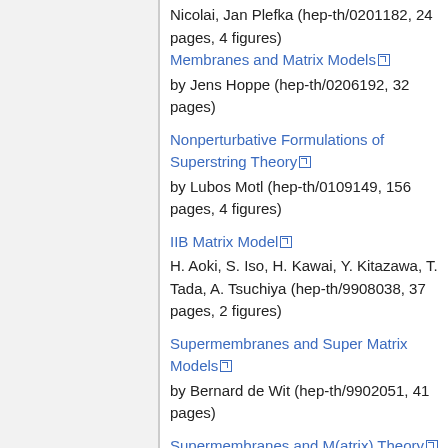Nicolai, Jan Plefka (hep-th/0201182, 24 pages, 4 figures)
Membranes and Matrix Models [ext link]
by Jens Hoppe (hep-th/0206192, 32 pages)
Nonperturbative Formulations of Superstring Theory [ext link]
by Lubos Motl (hep-th/0109149, 156 pages, 4 figures)
IIB Matrix Model [ext link]
H. Aoki, S. Iso, H. Kawai, Y. Kitazawa, T. Tada, A. Tsuchiya (hep-th/9908038, 37 pages, 2 figures)
Supermembranes and Super Matrix Models [ext link]
by Bernard de Wit (hep-th/9902051, 41 pages)
Supermembranes and M(atrix) Theory [ext link]
by Hermann Nicolai, Robert Helling